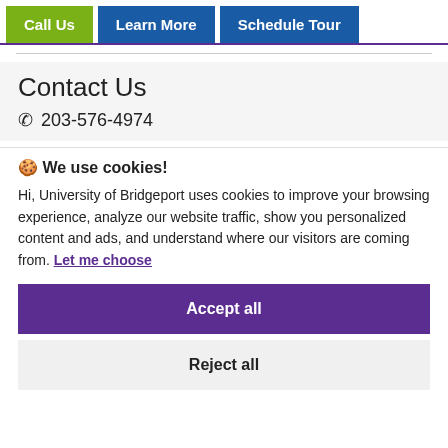Call Us | Learn More | Schedule Tour
Contact Us
📞 203-576-4974
🍪 We use cookies!
Hi, University of Bridgeport uses cookies to improve your browsing experience, analyze our website traffic, show you personalized content and ads, and understand where our visitors are coming from. Let me choose
Accept all
Reject all